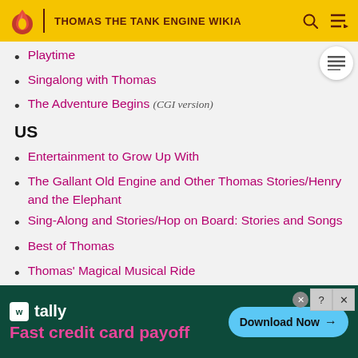THOMAS THE TANK ENGINE WIKIA
Playtime
Singalong with Thomas
The Adventure Begins (CGI version)
US
Entertainment to Grow Up With
The Gallant Old Engine and Other Thomas Stories/Henry and the Elephant
Sing-Along and Stories/Hop on Board: Stories and Songs
Best of Thomas
Thomas' Magical Musical Ride
[Figure (screenshot): Tally app advertisement banner: 'Fast credit card payoff' with Download Now button]